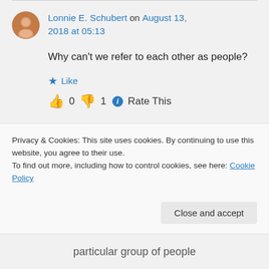Lonnie E. Schubert on August 13, 2018 at 05:13
Why can't we refer to each other as people?
Like
👍 0 👎 1 ℹ Rate This
Privacy & Cookies: This site uses cookies. By continuing to use this website, you agree to their use. To find out more, including how to control cookies, see here: Cookie Policy
Close and accept
particular group of people